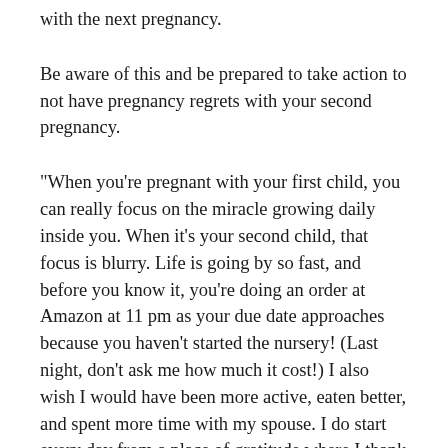with the next pregnancy.
Be aware of this and be prepared to take action to not have pregnancy regrets with your second pregnancy.
"When you're pregnant with your first child, you can really focus on the miracle growing daily inside you. When it's your second child, that focus is blurry. Life is going by so fast, and before you know it, you're doing an order at Amazon at 11 pm as your due date approaches because you haven't started the nursery! (Last night, don't ask me how much it cost!) I also wish I would have been more active, eaten better, and spent more time with my spouse. I do start every day from a place of gratitude where I thank God for my blessings and my family, specifically this little baby boy we will have soon, is the first thing I express gratitude for. I'm hoping the big buy upstairs will help me sort out the rest. :)" Liz Larsen of The Life you